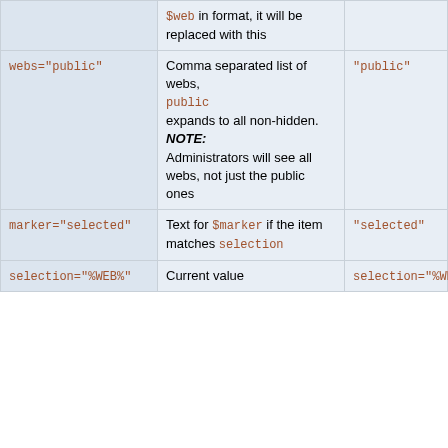| Parameter | Description | Default |
| --- | --- | --- |
|  | $web in format, it will be replaced with this |  |
| webs="public" | Comma separated list of webs, public expands to all non-hidden. NOTE: Administrators will see all webs, not just the public ones | "public" |
| marker="selected" | Text for $marker if the item matches selection | "selected" |
| selection="%WEB%" | Current value | selection="%WEB%" |